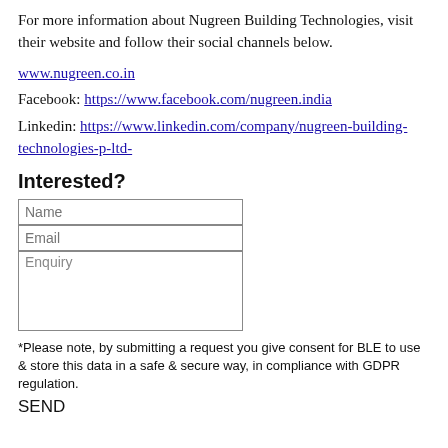For more information about Nugreen Building Technologies, visit their website and follow their social channels below.
www.nugreen.co.in
Facebook: https://www.facebook.com/nugreen.india
Linkedin: https://www.linkedin.com/company/nugreen-building-technologies-p-ltd-
Interested?
Name
Email
Enquiry
*Please note, by submitting a request you give consent for BLE to use & store this data in a safe & secure way, in compliance with GDPR regulation.
SEND